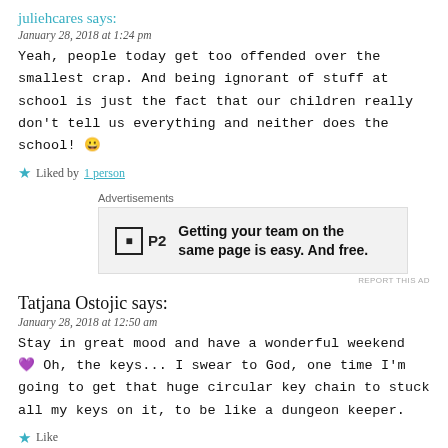juliehcares says:
January 28, 2018 at 1:24 pm
Yeah, people today get too offended over the smallest crap. And being ignorant of stuff at school is just the fact that our children really don't tell us everything and neither does the school! 😀
Liked by 1 person
[Figure (screenshot): Advertisement box: P2 logo with text 'Getting your team on the same page is easy. And free.']
Tatjana Ostojic says:
January 28, 2018 at 12:50 am
Stay in great mood and have a wonderful weekend 💜 Oh, the keys... I swear to God, one time I'm going to get that huge circular key chain to stuck all my keys on it, to be like a dungeon keeper.
Like